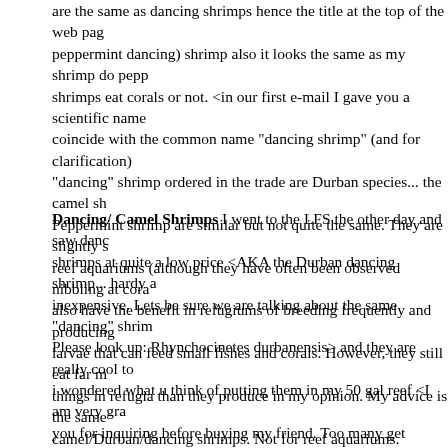are the same as dancing shrimps hence the title at the top of the web page peppermint dancing) shrimp also it looks the same as my shrimp do pepp shrimps eat corals or not. <in our first e-mail I gave you a scientific name coincide with the common name "dancing shrimp" (and for clarification) "dancing" shrimp ordered in the trade are Durban species... the camel shr Peppermint shrimp are similar but not quite the same. They are slightly s reef aquariums (although they have often been observed nibbling at cora also have the benefit in refugiums of breeding frequently and producing larvae that can feed small fishes and corals. However, they still eat far m things in refugia than they produce in my opinion. My advice is the same camel/Durban/dancing shrimps. Not for reef aquariums. Kindly, Anthony
Dancing/ Camel Shrimps I went to the LFS the other day and saw danc shrimps at quite a low price <AKA the Durban dancing shrimp... hardy a inexpensive. Lets be sure we are talking about the same "dancing" shrim Please look up: Rhynchocinetes durbanensis> and they are really cool to i wondered what u think of putting them in my 50 gal reef <I am very gra you for inquiring before buying my friend. Too many get purchased for t average garden reef display and do not fare well or cause trouble> which already got a 2 year old cleaner shrimp in and various soft corals a regal of Percs and a humbug damsel its water is tip top and there are many pla hide no algae though i don't know if this species need it. <this species oft coral and is not recommended here> Also could one be added to my refu well which at the moment only has some Caulerpa in. <perhaps better to